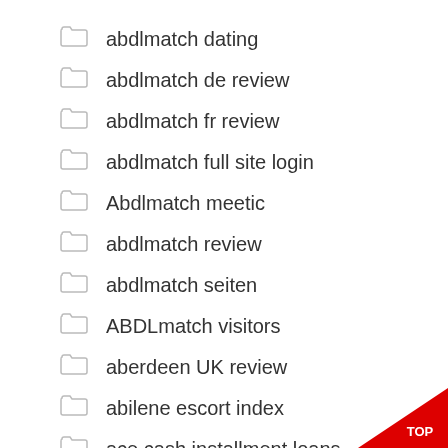abdlmatch dating
abdlmatch de review
abdlmatch fr review
abdlmatch full site login
Abdlmatch meetic
abdlmatch review
abdlmatch seiten
ABDLmatch visitors
aberdeen UK review
abilene escort index
ace cash installment loans